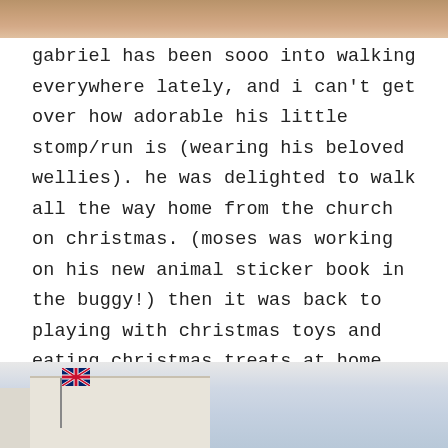[Figure (photo): Top portion of a photo, partially cropped, showing what appears to be a building or outdoor scene with warm tones]
gabriel has been sooo into walking everywhere lately, and i can't get over how adorable his little stomp/run is (wearing his beloved wellies). he was delighted to walk all the way home from the church on christmas. (moses was working on his new animal sticker book in the buggy!) then it was back to playing with christmas toys and eating christmas treats at home.
[Figure (photo): Bottom portion of a photo showing a building with a Union Jack flag, blue sky in the background]